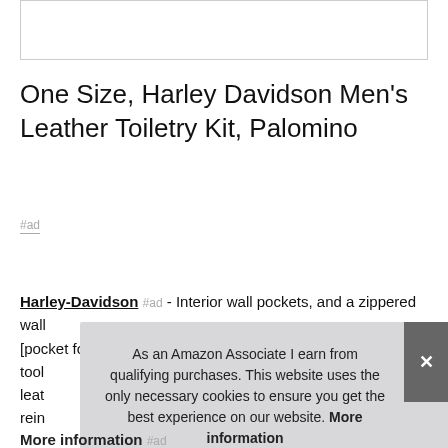[Figure (other): Empty white image placeholder box with border]
One Size, Harley Davidson Men's Leather Toiletry Kit, Palomino
#ad
Harley-Davidson #ad - Interior wall pockets, and a zippered wall [pocket for small items], tool [organizer pockets], leat[her], rein[forced]
As an Amazon Associate I earn from qualifying purchases. This website uses the only necessary cookies to ensure you get the best experience on our website. More information
More information #ad